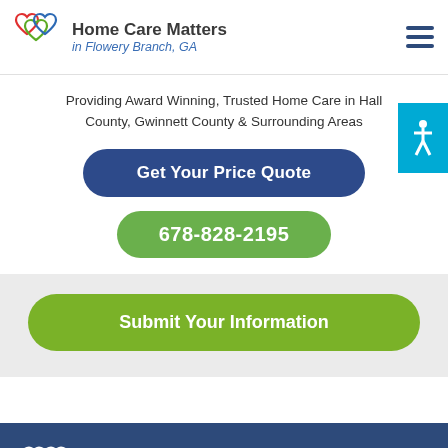[Figure (logo): Home Care Matters logo: overlapping hearts in red, green, blue with company name]
Home Care Matters in Flowery Branch, GA
Providing Award Winning, Trusted Home Care in Hall County, Gwinnett County & Surrounding Areas
Get Your Price Quote
678-828-2195
Submit Your Information